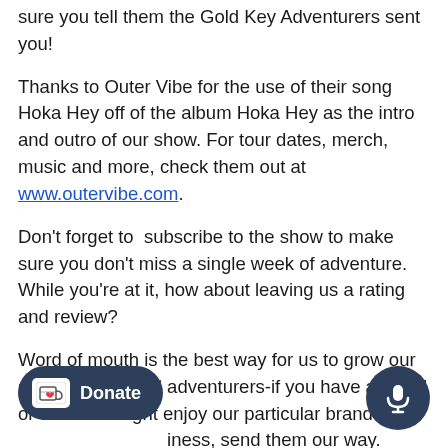sure you tell them the Gold Key Adventurers sent you!
Thanks to Outer Vibe for the use of their song Hoka Hey off of the album Hoka Hey as the intro and outro of our show. For tour dates, merch, music and more, check them out at www.outervibe.com.
Don't forget to  subscribe to the show to make sure you don't miss a single week of adventure. While you're at it, how about leaving us a rating and review?
Word of mouth is the best way for us to grow our society of intrepid adventurers-if you have a friend or two who might enjoy our particular brand ofiness, send them our way.
The Gold Key Adventurers Society is always looking